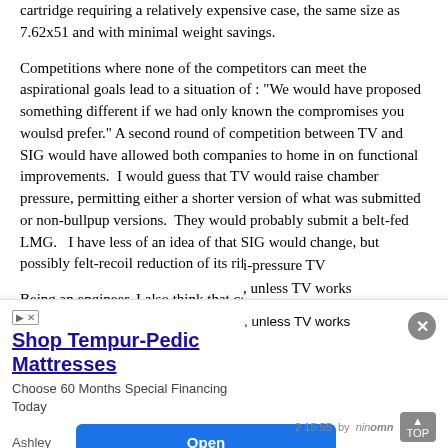cartridge requiring a relatively expensive case, the same size as 7.62x51 and with minimal weight savings.
Competitions where none of the competitors can meet the aspirational goals lead to a situation of : "We would have proposed something different if we had only known the compromises you woulsd prefer." A second round of competition between TV and SIG would have allowed both companies to home in on functional improvements.  I would guess that TV would raise chamber pressure, permitting either a shorter version of what was submitted or non-bullpup versions.  They would probably submit a belt-fed LMG.   I have less of an idea of that SIG would change, but possibly felt-recoil reduction of its rifle.
Being an engineer, I also think that contracts like this should cover development expenses so that best ideas from all the competitors can be combined.   In a competition like this, seldom does one competitor have ALL the best ideas.  We may
i-pressure TV
, unless TV works
2 15:55  by  nin[omn]  TOP